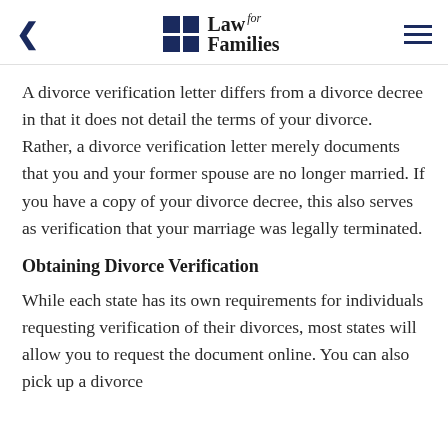Law for Families
A divorce verification letter differs from a divorce decree in that it does not detail the terms of your divorce. Rather, a divorce verification letter merely documents that you and your former spouse are no longer married. If you have a copy of your divorce decree, this also serves as verification that your marriage was legally terminated.
Obtaining Divorce Verification
While each state has its own requirements for individuals requesting verification of their divorces, most states will allow you to request the document online. You can also pick up a divorce